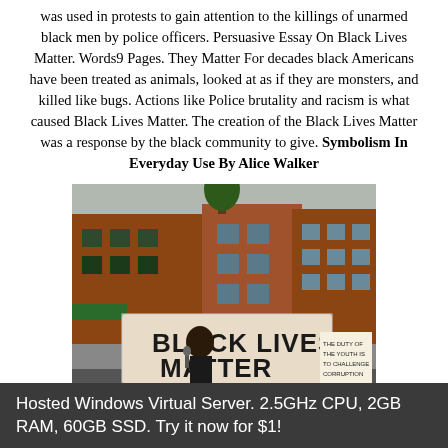was used in protests to gain attention to the killings of unarmed black men by police officers. Persuasive Essay On Black Lives Matter. Words9 Pages. They Matter For decades black Americans have been treated as animals, looked at as if they are monsters, and killed like bugs. Actions like Police brutality and racism is what caused Black Lives Matter. The creation of the Black Lives Matter was a response by the black community to give. Symbolism In Everyday Use By Alice Walker
[Figure (photo): Photograph of a Black Lives Matter protest. A woman speaks at a microphone in front of a large banner reading 'BLACK LIVES MATTER'. Buildings and other protesters visible in background. A sign to the right reads 'THE DUTY OF THE YOUTH IS TO CHALLENGE CORRUPTION'.]
Hosted Windows Virtual Server. 2.5GHz CPU, 2GB RAM, 60GB SSD. Try it now for $1!